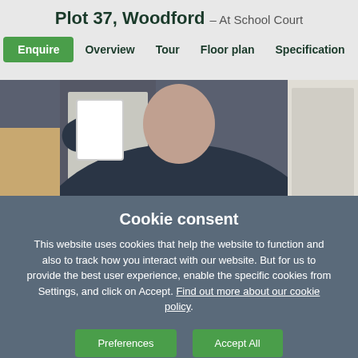Plot 37, Woodford – At School Court
Enquire  Overview  Tour  Floor plan  Specification
[Figure (photo): Partial view of a person in a dark navy sweatshirt standing at a doorway, photographed from the torso up]
Cookie consent
This website uses cookies that help the website to function and also to track how you interact with our website. But for us to provide the best user experience, enable the specific cookies from Settings, and click on Accept. Find out more about our cookie policy.
Preferences  Accept All